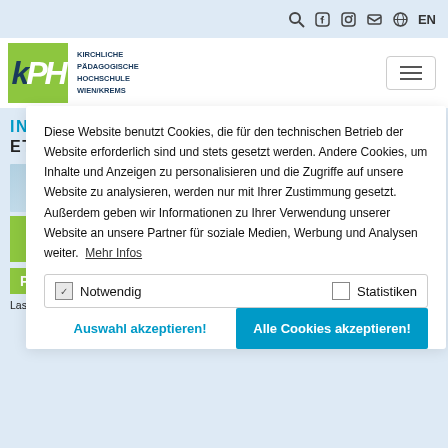EN
[Figure (logo): KPH logo — Kirchliche Pädagogische Hochschule Wien/Krems, green square with KPH letters]
Diese Website benutzt Cookies, die für den technischen Betrieb der Website erforderlich sind und stets gesetzt werden. Andere Cookies, um Inhalte und Anzeigen zu personalisieren und die Zugriffe auf unsere Website zu analysieren, werden nur mit Ihrer Zustimmung gesetzt. Außerdem geben wir Informationen zu Ihrer Verwendung unserer Website an unsere Partner für soziale Medien, Werbung und Analysen weiter.  Mehr Infos
Notwendig
Statistiken
Auswahl akzeptieren!
Alle Cookies akzeptieren!
Last update March 24, 2022